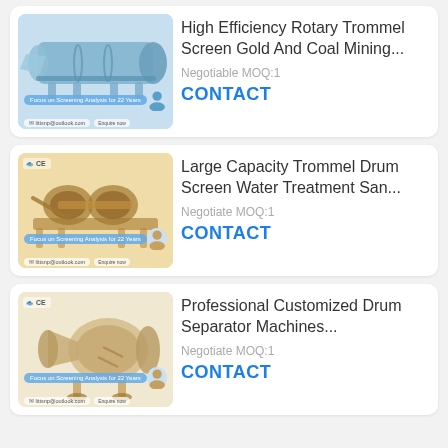[Figure (photo): High Efficiency Rotary Trommel Screen Gold And Coal Mining machine product listing image with blue machine on orange background]
High Efficiency Rotary Trommel Screen Gold And Coal Mining...
Negotiable MOQ:1
CONTACT
[Figure (photo): Large Capacity Trommel Drum Screen Water Treatment machine product listing image on orange background]
Large Capacity Trommel Drum Screen Water Treatment San...
Negotiate MOQ:1
CONTACT
[Figure (photo): Professional Customized Drum Separator Machines product listing image on cream background]
Professional Customized Drum Separator Machines...
Negotiate MOQ:1
CONTACT